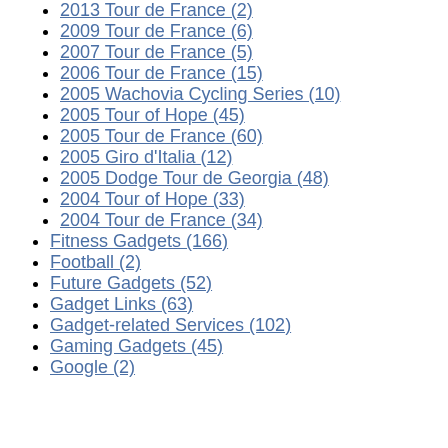2013 Tour de France (2)
2009 Tour de France (6)
2007 Tour de France (5)
2006 Tour de France (15)
2005 Wachovia Cycling Series (10)
2005 Tour of Hope (45)
2005 Tour de France (60)
2005 Giro d'Italia (12)
2005 Dodge Tour de Georgia (48)
2004 Tour of Hope (33)
2004 Tour de France (34)
Fitness Gadgets (166)
Football (2)
Future Gadgets (52)
Gadget Links (63)
Gadget-related Services (102)
Gaming Gadgets (45)
Google (2)